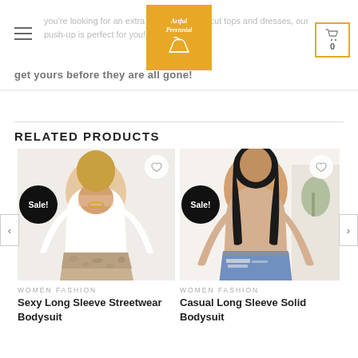you're looking for an extra layer under low-cut tops and dresses, our push-up is perfect for you! Be quick! get yours before they are all gone!
RELATED PRODUCTS
[Figure (photo): Woman wearing white long sleeve square neck bodysuit with snake print skirt, Sale badge, wishlist heart icon]
WOMEN FASHION
Sexy Long Sleeve Streetwear Bodysuit
[Figure (photo): Woman wearing casual long sleeve solid beige bodysuit with ripped jeans, Sale badge, wishlist heart icon]
WOMEN FASHION
Casual Long Sleeve Solid Bodysuit